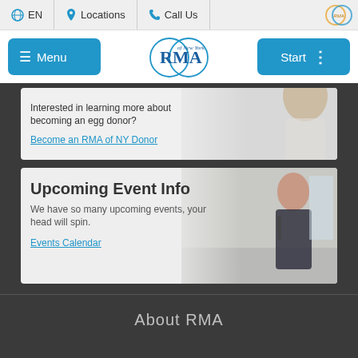EN  Locations  Call Us  RMA
[Figure (logo): RMA of New York logo with two overlapping circles and navigation menu and start buttons]
Interested in learning more about becoming an egg donor?
Become an RMA of NY Donor
Upcoming Event Info
We have so many upcoming events, your head will spin.
Events Calendar
About RMA